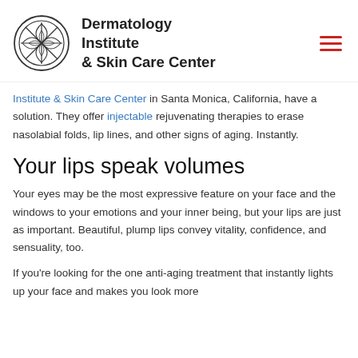Dermatology Institute & Skin Care Center
Institute & Skin Care Center in Santa Monica, California, have a solution. They offer injectable rejuvenating therapies to erase nasolabial folds, lip lines, and other signs of aging. Instantly.
Your lips speak volumes
Your eyes may be the most expressive feature on your face and the windows to your emotions and your inner being, but your lips are just as important. Beautiful, plump lips convey vitality, confidence, and sensuality, too.
If you're looking for the one anti-aging treatment that instantly lights up your face and makes you look more